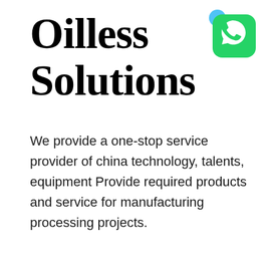Oilless Solutions
[Figure (logo): WhatsApp logo icon — green rounded square with white speech bubble phone handset, with a small blue circle partially overlapping top-left corner]
We provide a one-stop service provider of china technology, talents, equipment Provide required products and service for manufacturing processing projects.